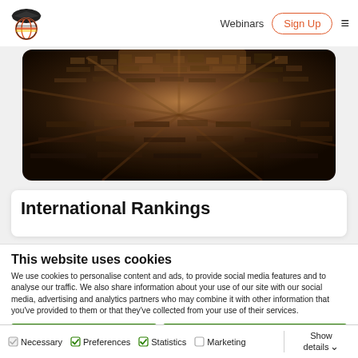Webinars | Sign Up
[Figure (photo): Aerial view of a dense urban cityscape with buildings and streets seen from above]
International Rankings
This website uses cookies
We use cookies to personalise content and ads, to provide social media features and to analyse our traffic. We also share information about your use of our site with our social media, advertising and analytics partners who may combine it with other information that you've provided to them or that they've collected from your use of their services.
Reject non-essential cookies | Allow all
Necessary  Preferences  Statistics  Marketing  Show details